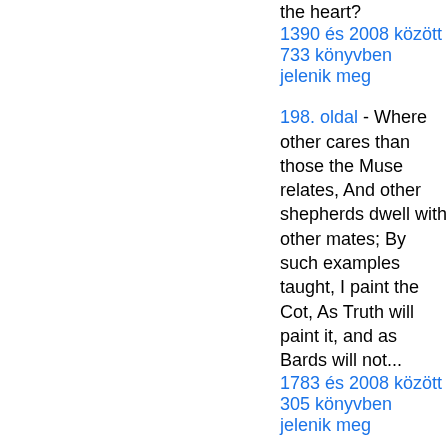the heart?
1390 és 2008 között 733 könyvben jelenik meg
198. oldal - Where other cares than those the Muse relates, And other shepherds dwell with other mates; By such examples taught, I paint the Cot, As Truth will paint it, and as Bards will not...
1783 és 2008 között 305 könyvben jelenik meg
123. oldal - We can do nothing without the blue stockings " ; and thus by degrees the title was established.
1807 és 2008 között 151 könyvben jelenik meg